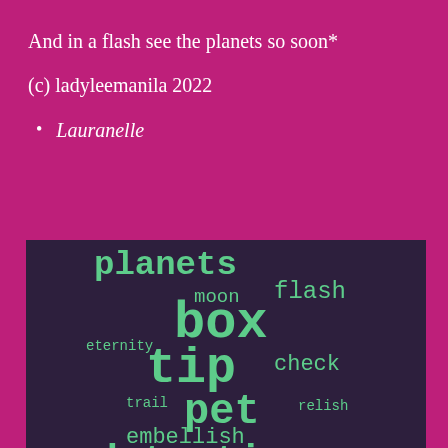And in a flash see the planets so soon*
(c) ladyleemanila 2022
Lauranelle
[Figure (infographic): Word cloud on dark purple background with green monospace words of varying sizes: planets, moon, flash, box, eternity, tip, check, trail, pet, relish, embellish, detective]